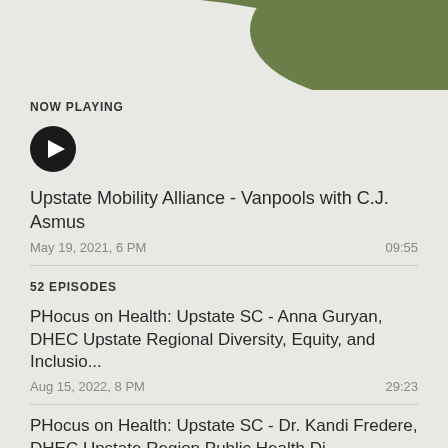[Figure (illustration): Decorative green wave shape in top-right corner of the page background]
NOW PLAYING
[Figure (other): Circular black play button icon]
Upstate Mobility Alliance - Vanpools with C.J. Asmus
May 19, 2021, 6 PM   09:55
52 EPISODES
PHocus on Health: Upstate SC - Anna Guryan, DHEC Upstate Regional Diversity, Equity, and Inclusio...
Aug 15, 2022, 8 PM   29:23
PHocus on Health: Upstate SC - Dr. Kandi Fredere, DHEC Upstate Region Public Health Di...